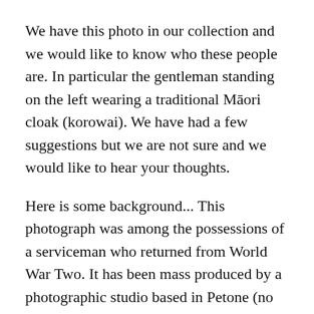We have this photo in our collection and we would like to know who these people are.  In particular the gentleman standing on the left wearing a traditional Māori cloak (korowai).  We have had a few suggestions but we are not sure and we would like to hear your thoughts.
Here is some background...  This photograph was among the possessions of a serviceman who returned from World War Two.  It has been mass produced by a photographic studio based in Petone (no longer in operation).  The returned soldier was very involved in rugby and his community and he ran a business in Petone.
The following paragraph begins at the bottom of the page (partial).